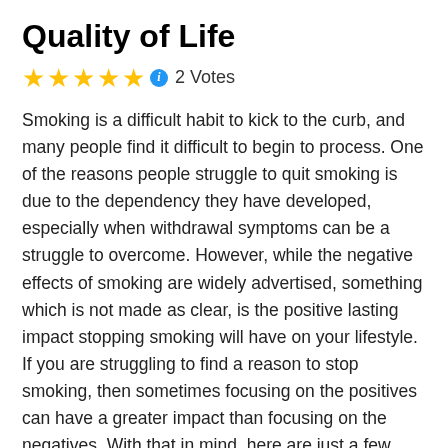Quality of Life
★★★★★ ℹ 2 Votes
Smoking is a difficult habit to kick to the curb, and many people find it difficult to begin to process. One of the reasons people struggle to quit smoking is due to the dependency they have developed, especially when withdrawal symptoms can be a struggle to overcome. However, while the negative effects of smoking are widely advertised, something which is not made as clear, is the positive lasting impact stopping smoking will have on your lifestyle. If you are struggling to find a reason to stop smoking, then sometimes focusing on the positives can have a greater impact than focusing on the negatives. With that in mind, here are just a few examples of how going smoke-free will help you to improve your general